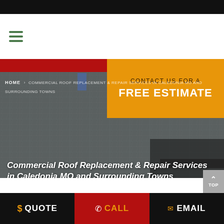[Figure (screenshot): Website header with hamburger menu icon (three green horizontal lines) on white background]
[Figure (photo): Hero section with close-up photo of gray roof shingles, red bar at top left, orange contact box at top right, breadcrumb navigation, and bold italic page title at bottom]
CONTACT US FOR A FREE ESTIMATE
HOME
COMMERCIAL ROOF REPLACEMENT & REPAIR SERVICES IN CALEDONIA MO AND SURROUNDING TOWNS
Commercial Roof Replacement & Repair Services in Caledonia MO and Surrounding Towns
$ QUOTE   CALL   EMAIL